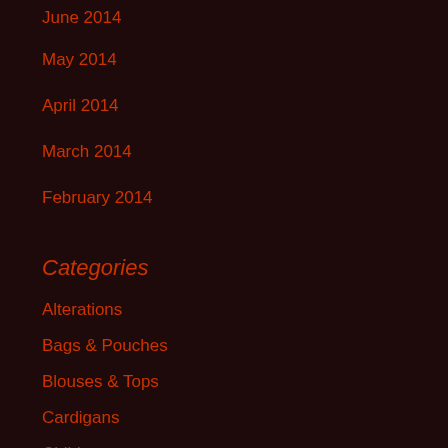June 2014
May 2014
April 2014
March 2014
February 2014
Categories
Alterations
Bags & Pouches
Blouses & Tops
Cardigans
Children
Christmas
Coats and Jackets